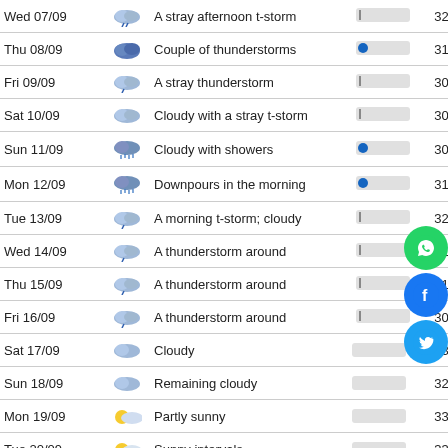| Date | Icon | Description | Bar | High | Low |
| --- | --- | --- | --- | --- | --- |
| Wed 07/09 |  | A stray afternoon t-storm |  | 32° | 26° |
| Thu 08/09 |  | Couple of thunderstorms |  | 31° | 25° |
| Fri 09/09 |  | A stray thunderstorm |  | 30° | 26° |
| Sat 10/09 |  | Cloudy with a stray t-storm |  | 30° | 27° |
| Sun 11/09 |  | Cloudy with showers |  | 30° | 26° |
| Mon 12/09 |  | Downpours in the morning |  | 31° | 26° |
| Tue 13/09 |  | A morning t-storm; cloudy |  | 32° | 26° |
| Wed 14/09 |  | A thunderstorm around |  | 31° | 26° |
| Thu 15/09 |  | A thunderstorm around |  | 31° | 26° |
| Fri 16/09 |  | A thunderstorm around |  | 30° | 26° |
| Sat 17/09 |  | Cloudy |  | 33° | 26° |
| Sun 18/09 |  | Remaining cloudy |  | 32° | 26° |
| Mon 19/09 |  | Partly sunny |  | 33° | — |
| Tue 20/09 |  | Sunny intervals |  | 33° | 26° |